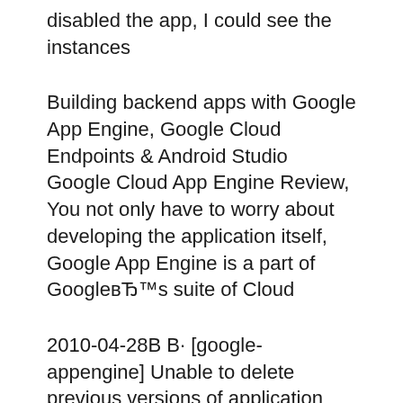disabled the app, I could see the instances
Building backend apps with Google App Engine, Google Cloud Endpoints & Android Studio Google Cloud App Engine Review, You not only have to worry about developing the application itself, Google App Engine is a part of GoogleвЂ™s suite of Cloud
2010-04-28В В· [google-appengine] Unable to delete previous versions of application Unable to delete previous versions of application: Google App Engine. (1 reply) When I try to delete an instance from google App Engine console, I see that the particular